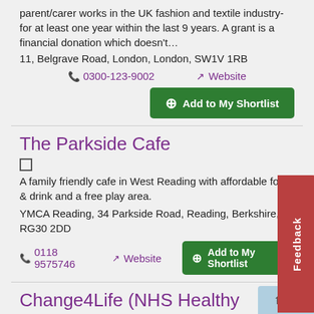parent/carer works in the UK fashion and textile industry- for at least one year within the last 9 years.  A grant is a financial donation which doesn't…
11, Belgrave Road, London, London, SW1V 1RB
📞 0300-123-9002
↗ Website
⊕ Add to My Shortlist
The Parkside Cafe
☐
A family friendly cafe in West Reading with affordable food & drink and a free play area.
YMCA Reading, 34 Parkside Road, Reading, Berkshire, RG30 2DD
📞 0118 9575746
↗ Website
⊕ Add to My Shortlist
Change4Life (NHS Healthy Lifestyle Website)
☐
"Fun ideas to help your kids stay healthy"  Food Facts Recipes